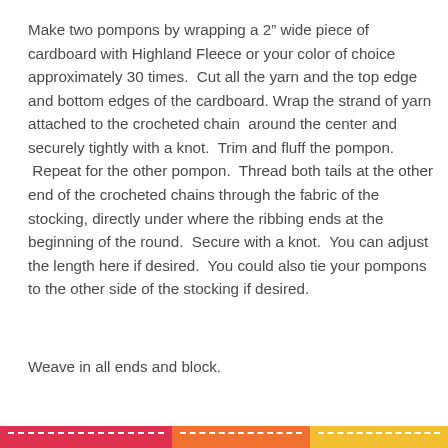Make two pompons by wrapping a 2" wide piece of cardboard with Highland Fleece or your color of choice approximately 30 times.  Cut all the yarn and the top edge and bottom edges of the cardboard. Wrap the strand of yarn attached to the crocheted chain  around the center and securely tightly with a knot.  Trim and fluff the pompon.  Repeat for the other pompon.  Thread both tails at the other end of the crocheted chains through the fabric of the stocking, directly under where the ribbing ends at the beginning of the round.  Secure with a knot.  You can adjust the length here if desired.  You could also tie your pompons to the other side of the stocking if desired.
Weave in all ends and block.